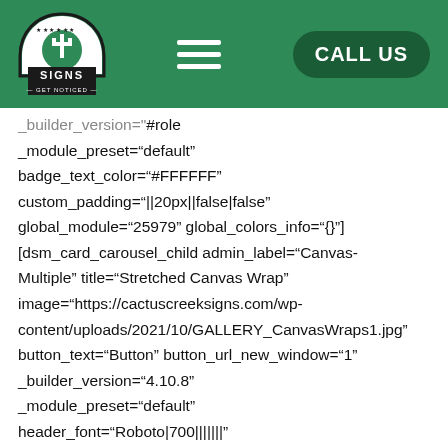Cactus Creek Signs — navigation header with logo, hamburger menu, and CALL US button
_builder_version="#role
_module_preset="default"
badge_text_color="#FFFFFF"
custom_padding="||20px||false|false"
global_module="25979" global_colors_info="{}"
[dsm_card_carousel_child admin_label="Canvas-Multiple" title="Stretched Canvas Wrap"
image="https://cactuscreeksigns.com/wp-content/uploads/2021/10/GALLERY_CanvasWraps1.jpg"
button_text="Button" button_url_new_window="1"
_builder_version="4.10.8"
_module_preset="default"
header_font="Roboto|700|||||||"
header_text_align="center"